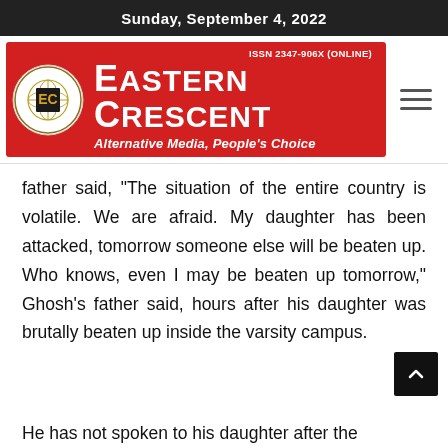Sunday, September 4, 2022
[Figure (logo): Eastern Crescent newspaper banner/logo with red background. Logo circle on left, ISSN 2347-906X (ONLINE), title 'EASTERN CRESCENT', subtitle 'Alternative Media, People's Choice']
father said, "The situation of the entire country is volatile. We are afraid. My daughter has been attacked, tomorrow someone else will be beaten up. Who knows, even I may be beaten up tomorrow," Ghosh's father said, hours after his daughter was brutally beaten up inside the varsity campus.
He has not spoken to his daughter after the